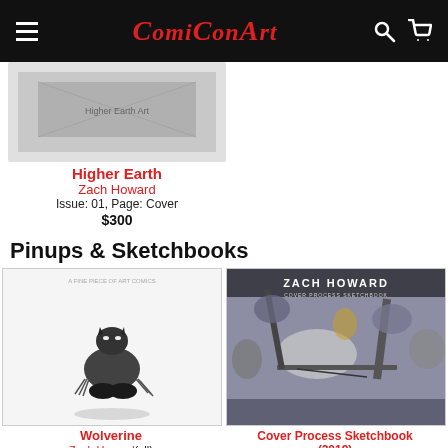ComiConArt
[Figure (photo): Higher Earth comic art thumbnail]
Higher Earth
Zach Howard
Issue: 01, Page: Cover
$300
Pinups & Sketchbooks
[Figure (illustration): Wolverine pinup artwork by Zach Howard, black and white ink drawing of Wolverine crouching]
Wolverine
Zach Howard(all)
[Figure (photo): Cover Process Sketchbook (2019) by Zach Howard, detailed black and white illustration cover]
Cover Process Sketchbook (2019)